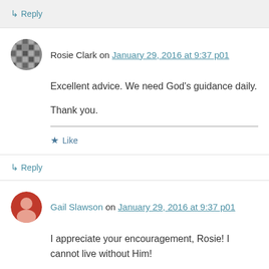↳ Reply
Rosie Clark on January 29, 2016 at 9:37 p01
Excellent advice. We need God's guidance daily.

Thank you.
Like
↳ Reply
Gail Slawson on January 29, 2016 at 9:37 p01
I appreciate your encouragement, Rosie! I cannot live without Him!